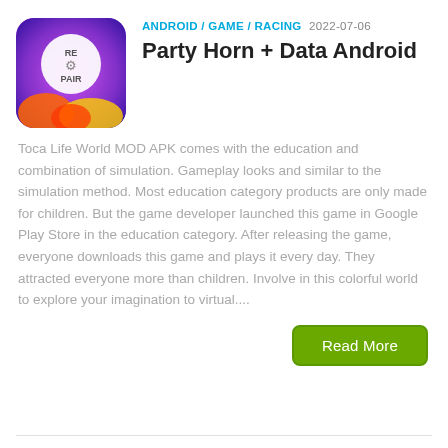[Figure (logo): App icon with RE PAIR logo on purple/colorful background]
ANDROID / GAME / RACING  2022-07-06
Party Horn + Data Android
Toca Life World MOD APK comes with the education and combination of simulation. Gameplay looks and similar to the simulation method. Most education category products are only made for children. But the game developer launched this game in Google Play Store in the education category. After releasing the game, everyone downloads this game and plays it every day. They attracted everyone more than children. Involve in this colorful world to explore your imagination to virtual....